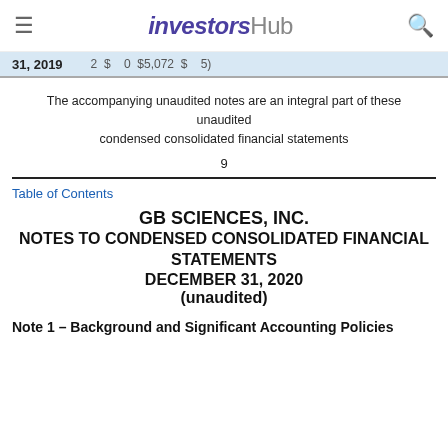investorsHub
| 31, 2019 | 2 | $ | 0 | $5,072 | $ | 5) |
The accompanying unaudited notes are an integral part of these unaudited condensed consolidated financial statements
9
Table of Contents
GB SCIENCES, INC.
NOTES TO CONDENSED CONSOLIDATED FINANCIAL STATEMENTS
DECEMBER 31, 2020
(unaudited)
Note 1 – Background and Significant Accounting Policies